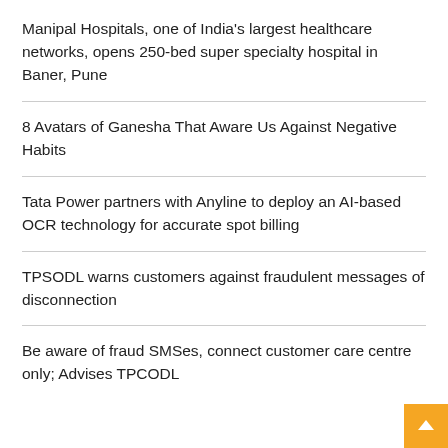Manipal Hospitals, one of India's largest healthcare networks, opens 250-bed super specialty hospital in Baner, Pune
8 Avatars of Ganesha That Aware Us Against Negative Habits
Tata Power partners with Anyline to deploy an AI-based OCR technology for accurate spot billing
TPSODL warns customers against fraudulent messages of disconnection
Be aware of fraud SMSes, connect customer care centre only; Advises TPCODL